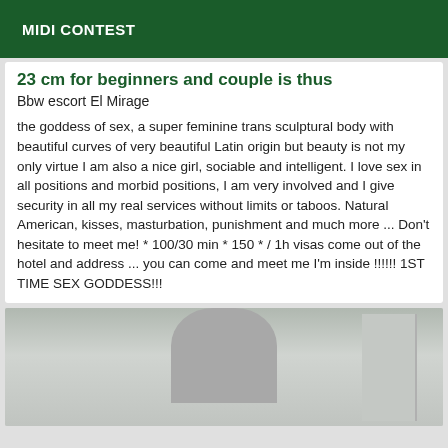MIDI CONTEST
23 cm for beginners and couple is thus
Bbw escort El Mirage
the goddess of sex, a super feminine trans sculptural body with beautiful curves of very beautiful Latin origin but beauty is not my only virtue I am also a nice girl, sociable and intelligent. I love sex in all positions and morbid positions, I am very involved and I give security in all my real services without limits or taboos. Natural American, kisses, masturbation, punishment and much more ... Don't hesitate to meet me! * 100/30 min * 150 * / 1h visas come out of the hotel and address ... you can come and meet me I'm inside !!!!!! 1ST TIME SEX GODDESS!!!
[Figure (photo): Partial photo of a person, cropped, visible from approximately waist level, background appears to be indoors near a door or wall.]